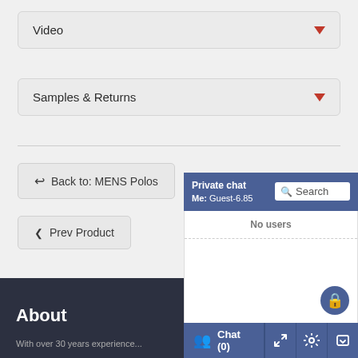Video (dropdown)
Samples & Returns (dropdown)
← Back to: MENS Polos
< Prev Product
Next Product >
About
With over 30 years experience...
[Figure (screenshot): Private chat widget showing 'Me: Guest-6.85', search box, No users message, lock button, Chat (0) footer with expand, settings, and minimize buttons]